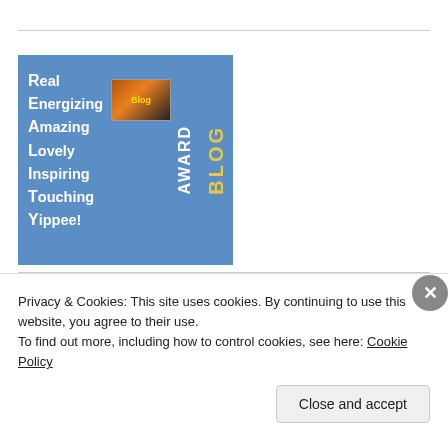[Figure (illustration): REALTY Blog Award badge — blue square with white bold text listing Real, Energizing, Amazing, Lovely, Inspiring, Touching, Yippee! with a small blog thumbnail image and vertical text reading BLOG AWARD on the right side.]
[Figure (photo): Partial view of a second image with orange/sky-blue gradient colors, partially visible at the bottom of the page.]
Privacy & Cookies: This site uses cookies. By continuing to use this website, you agree to their use.
To find out more, including how to control cookies, see here: Cookie Policy